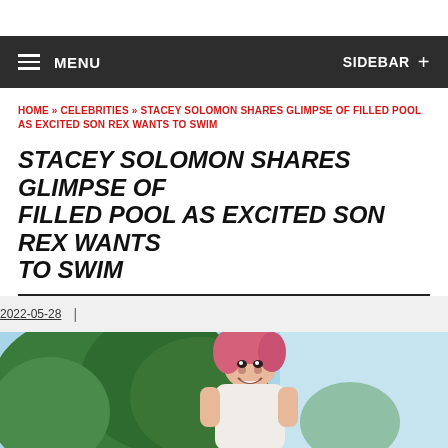MENU   SIDEBAR +
HOME » CELEBRITIES » STACEY SOLOMON SHARES GLIMPSE OF FILLED POOL AS EXCITED SON REX WANTS TO SWIM
STACEY SOLOMON SHARES GLIMPSE OF FILLED POOL AS EXCITED SON REX WANTS TO SWIM
2022-05-28
[Figure (photo): Photo of a smiling woman with pink hair outdoors with trees and blue sky in background]